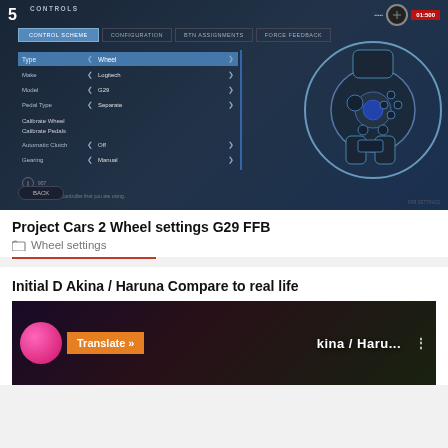[Figure (screenshot): Screenshot of Project Cars 2 Controls settings screen showing wheel configuration with Control Scheme tab active, Type: Wheel, Make: Logitech, Model: G29, Pedal Type: Separate, with a Logitech G29 wheel diagram on the right side.]
Project Cars 2 Wheel settings G29 FFB
Wheel settings
Initial D Akina / Haruna Compare to real life
[Figure (screenshot): Thumbnail for video 'Initial D Akina / Haruna Compare to real life' showing a pink circular logo on the left, an orange Translate button, and stylized text 'Akina / Haru...' with a vertical dots menu icon.]